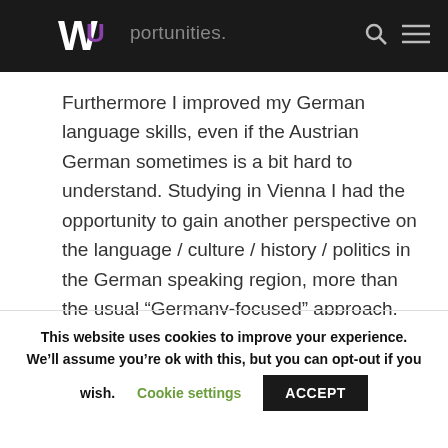WU …opportunities.
Furthermore I improved my German language skills, even if the Austrian German sometimes is a bit hard to understand. Studying in Vienna I had the opportunity to gain another perspective on the language / culture / history / politics in the German speaking region, more than the usual “Germany-focused” approach.
This website uses cookies to improve your experience. We’ll assume you’re ok with this, but you can opt-out if you wish. Cookie settings ACCEPT